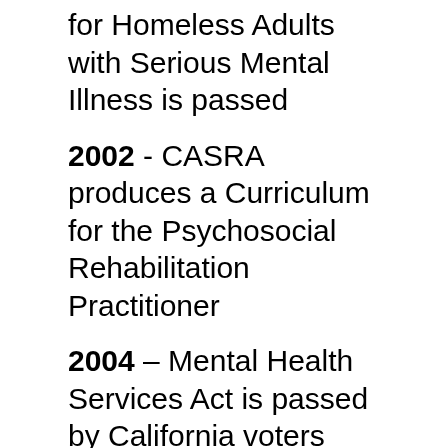for Homeless Adults with Serious Mental Illness is passed
2002 - CASRA produces a Curriculum for the Psychosocial Rehabilitation Practitioner
2004 – Mental Health Services Act is passed by California voters
2006 - Train the Trainer course